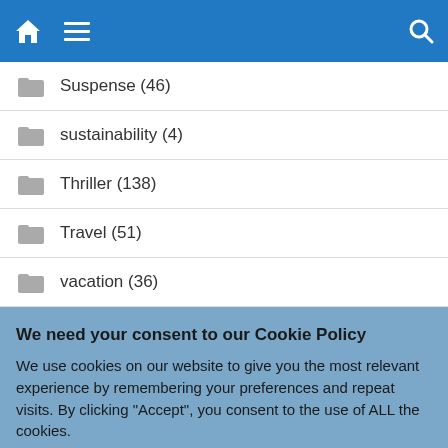Navigation bar with home, menu, and search icons
Suspense (46)
sustainability (4)
Thriller (138)
Travel (51)
vacation (36)
We need your consent to our Cookie Policy
We use cookies on our website to give you the most relevant experience by remembering your preferences and repeat visits. By clicking "Accept", you consent to the use of ALL the cookies.
Do not sell my personal information.
Cookie Settings  Accept